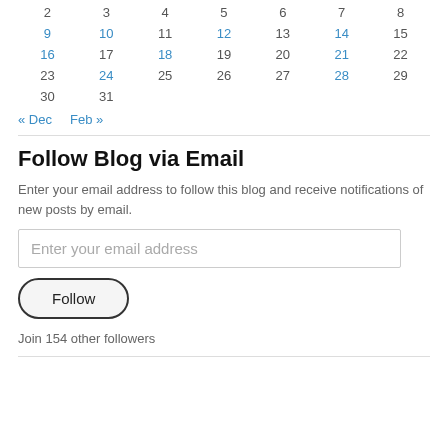|  |  |  |  |  |  |  |
| --- | --- | --- | --- | --- | --- | --- |
| 2 | 3 | 4 | 5 | 6 | 7 | 8 |
| 9 | 10 | 11 | 12 | 13 | 14 | 15 |
| 16 | 17 | 18 | 19 | 20 | 21 | 22 |
| 23 | 24 | 25 | 26 | 27 | 28 | 29 |
| 30 | 31 |  |  |  |  |  |
« Dec   Feb »
Follow Blog via Email
Enter your email address to follow this blog and receive notifications of new posts by email.
Enter your email address
Follow
Join 154 other followers